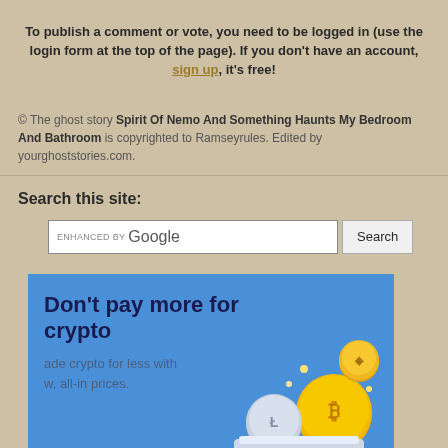To publish a comment or vote, you need to be logged in (use the login form at the top of the page). If you don't have an account, sign up, it's free!
© The ghost story Spirit Of Nemo And Something Haunts My Bedroom And Bathroom is copyrighted to Ramseyrules. Edited by yourghoststories.com.
Search this site:
[Figure (screenshot): Google enhanced search bar with Search button]
[Figure (illustration): Advertisement banner with blue background showing 'Don't pay more for crypto' with crypto coins illustration and text 'ade crypto for less with w, all-in prices.']